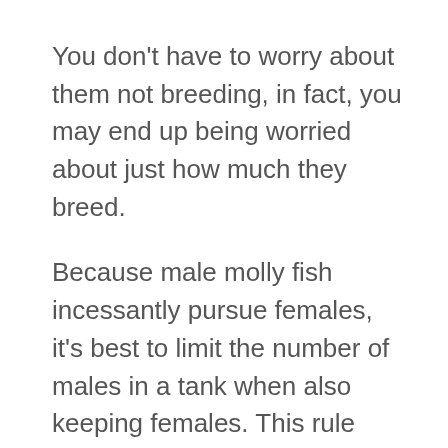You don't have to worry about them not breeding, in fact, you may end up being worried about just how much they breed.
Because male molly fish incessantly pursue females, it's best to limit the number of males in a tank when also keeping females. This rule applies to all livebearers.
Never keep a lone female with multiple male mollies. You should follow the one male to three females rule, or even better, avoid